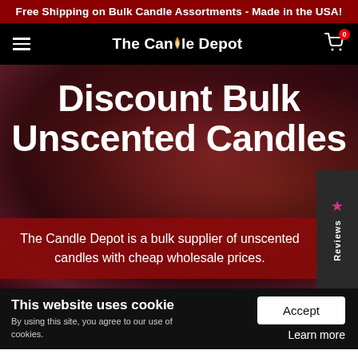Free Shipping on Bulk Candle Assortments - Made in the USA!
The Candle Depot
[Figure (screenshot): Hero section with dark red background showing Discount Bulk Unscented Candles heading and subtitle text with a reviews tab on right side]
Discount Bulk Unscented Candles
The Candle Depot is a bulk supplier of unscented candles with cheap wholesale prices.
This website uses cookie
By using this site, you agree to our use of cookies.